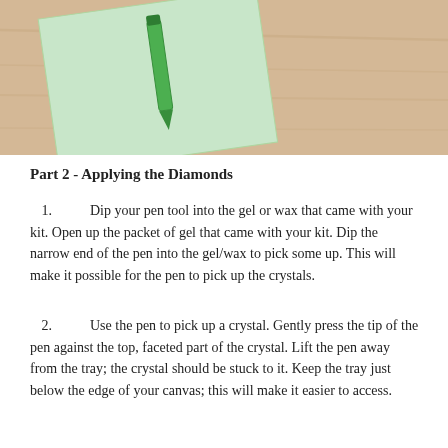[Figure (illustration): Illustration showing art/craft supplies on a wooden surface: a green sheet of paper with a pen/marker on it on the left, and a pink rectangular tray filled with small green crystal/diamond dots on the right.]
Part 2 - Applying the Diamonds
Dip your pen tool into the gel or wax that came with your kit. Open up the packet of gel that came with your kit. Dip the narrow end of the pen into the gel/wax to pick some up. This will make it possible for the pen to pick up the crystals.
Use the pen to pick up a crystal. Gently press the tip of the pen against the top, faceted part of the crystal. Lift the pen away from the tray; the crystal should be stuck to it. Keep the tray just below the edge of your canvas; this will make it easier to access.